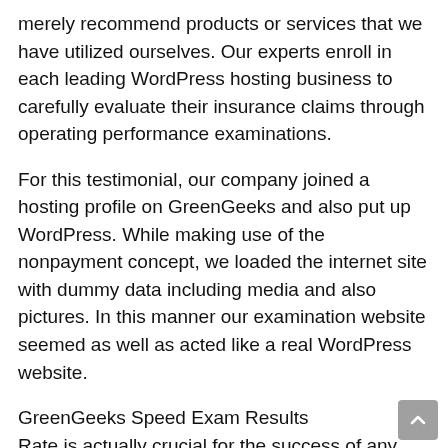merely recommend products or services that we have utilized ourselves. Our experts enroll in each leading WordPress hosting business to carefully evaluate their insurance claims through operating performance examinations.
For this testimonial, our company joined a hosting profile on GreenGeeks and also put up WordPress. While making use of the nonpayment concept, we loaded the internet site with dummy data including media and also pictures. In this manner our examination website seemed as well as acted like a real WordPress website.
GreenGeeks Speed Exam Results
Rate is actually crucial for the success of any sort of website. That is actually why the first examination our experts jogged was actually to gauge the website speed using Pingdom.